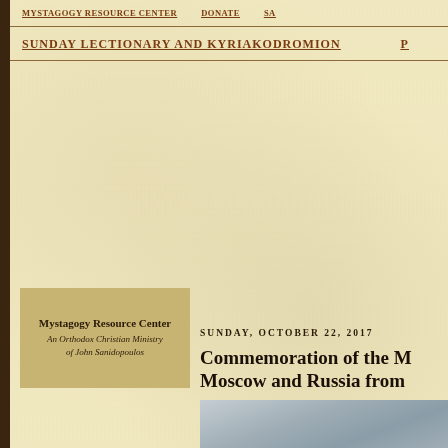MYSTAGOGY RESOURCE CENTER    DONATE    SA
SUNDAY LECTIONARY AND KYRIAKODROMION
[Figure (logo): Mystagogy Resource Center logo box — tan/gold background with text: 'Mystagogy Resource Center / An Orthodox Christian Ministry of John Sanidopoulos']
SUNDAY, OCTOBER 22, 2017
Commemoration of the M Moscow and Russia from